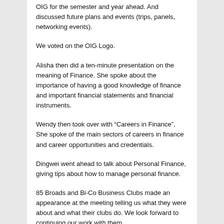OIG for the semester and year ahead. And discussed future plans and events (trips, panels, networking events).
We voted on the OIG Logo.
Alisha then did a ten-minute presentation on the meaning of Finance. She spoke about the importance of having a good knowledge of finance and important financial statements and financial instruments.
Wendy then took over with “Careers in Finance”.  She spoke of the main sectors of careers in finance and career opportunities and credentials.
Dingwei went ahead to talk about Personal Finance, giving tips about how to manage personal finance.
85 Broads and Bi-Co Business Clubs made an appearance at the meeting telling us what they were about and what their clubs do. We look forward to continuing our work with them.